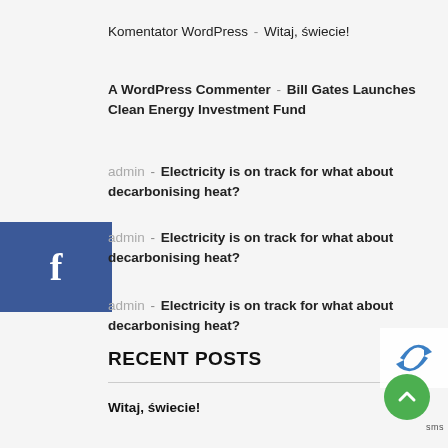Komentator WordPress - Witaj, świecie!
A WordPress Commenter - Bill Gates Launches Clean Energy Investment Fund
admin - Electricity is on track for what about decarbonising heat?
admin - Electricity is on track for what about decarbonising heat?
admin - Electricity is on track for what about decarbonising heat?
RECENT POSTS
Witaj, świecie!